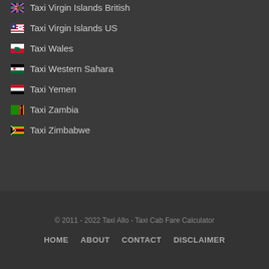Taxi Virgin Islands British
Taxi Virgin Islands US
Taxi Wales
Taxi Western Sahara
Taxi Yemen
Taxi Zambia
Taxi Zimbabwe
© 2011 - 2022 Taxi Allo - Taxi Cab Fare Calculator
HOME   ABOUT   CONTACT   DISCLAIMER